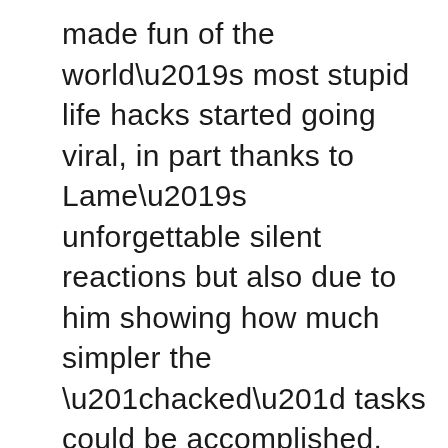made fun of the world’s most stupid life hacks started going viral, in part thanks to Lame’s unforgettable silent reactions but also due to him showing how much simpler the “hacked” tasks could be accomplished.